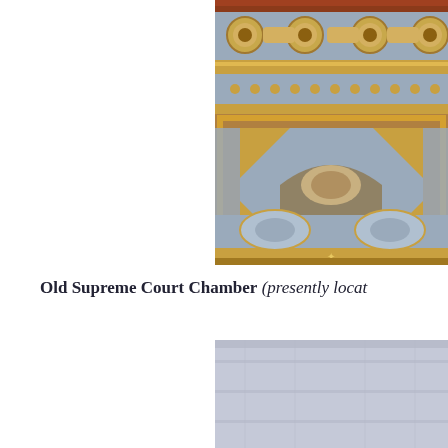[Figure (photo): Ornate gilded ceiling of the Old Supreme Court Chamber, showing elaborate gold decorative moldings, coffers, arches, and blue/gray painted panels with classical ornamentation]
Old Supreme Court Chamber (presently locat
[Figure (photo): Partially visible image below, showing a light gray/blue interior space, likely another view of the Old Supreme Court Chamber]